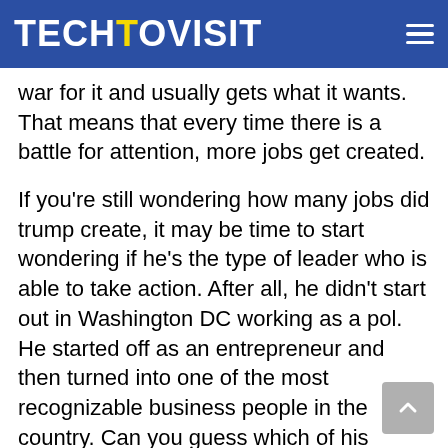TECHTOVISIT
war for it and usually gets what it wants. That means that every time there is a battle for attention, more jobs get created.
If you're still wondering how many jobs did trump create, it may be time to start wondering if he's the type of leader who is able to take action. After all, he didn't start out in Washington DC working as a pol. He started off as an entrepreneur and then turned into one of the most recognizable business people in the country. Can you guess which of his businesses is on top right now? The answer is not very, if at all.